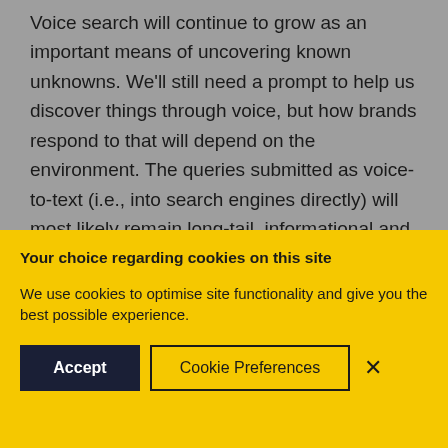Voice search will continue to grow as an important means of uncovering known unknowns. We'll still need a prompt to help us discover things through voice, but how brands respond to that will depend on the environment. The queries submitted as voice-to-text (i.e., into search engines directly) will most likely remain long-tail, informational and transactional in nature. To prepare for growth in
Your choice regarding cookies on this site
We use cookies to optimise site functionality and give you the best possible experience.